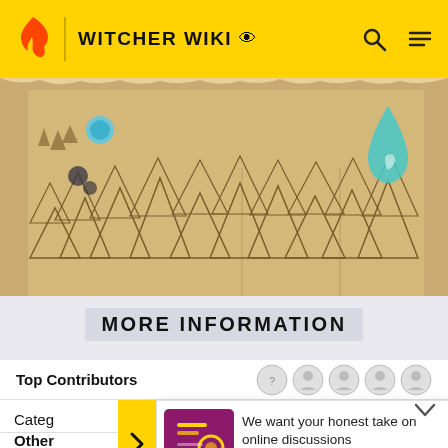WITCHER WIKI
[Figure (map): Antique parchment-style map showing mountains and terrain from The Witcher game, with colored markers (blue and teal) indicating Aard and Igni circles]
Aard and Igni circles
MORE INFORMATION
Top Contributors
We want your honest take on online discussions
SURVEY: ONLINE FORUMS
Categ
Other